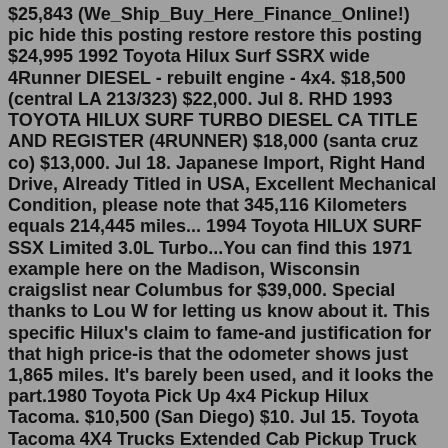$25,843 (We_Ship_Buy_Here_Finance_Online!) pic hide this posting restore restore this posting $24,995 1992 Toyota Hilux Surf SSRX wide 4Runner DIESEL - rebuilt engine - 4x4. $18,500 (central LA 213/323) $22,000. Jul 8. RHD 1993 TOYOTA HILUX SURF TURBO DIESEL CA TITLE AND REGISTER (4RUNNER) $18,000 (santa cruz co) $13,000. Jul 18. Japanese Import, Right Hand Drive, Already Titled in USA, Excellent Mechanical Condition, please note that 345,116 Kilometers equals 214,445 miles... 1994 Toyota HILUX SURF SSX Limited 3.0L Turbo...You can find this 1971 example here on the Madison, Wisconsin craigslist near Columbus for $39,000. Special thanks to Lou W for letting us know about it. This specific Hilux's claim to fame-and justification for that high price-is that the odometer shows just 1,865 miles. It's barely been used, and it looks the part.1980 Toyota Pick Up 4x4 Pickup Hilux Tacoma. $10,500 (San Diego) $10. Jul 15. Toyota Tacoma 4X4 Trucks Extended Cab Pickup Truck Automatic 1 Owner! $25,843